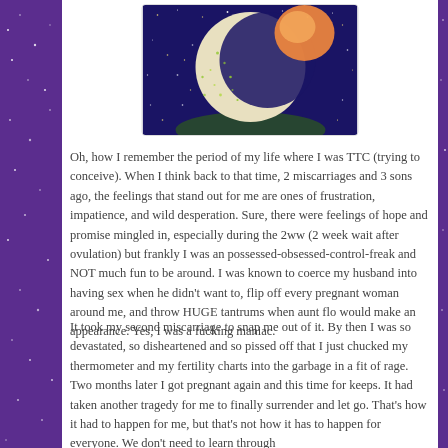[Figure (illustration): A painted illustration of a crescent moon with a celestial face, surrounded by stars on a dark blue/purple night sky background, with an orange orb (sun or planet) partially visible.]
Oh, how I remember the period of my life where I was TTC (trying to conceive). When I think back to that time, 2 miscarriages and 3 sons ago, the feelings that stand out for me are ones of frustration, impatience, and wild desperation. Sure, there were feelings of hope and promise mingled in, especially during the 2ww (2 week wait after ovulation) but frankly I was an possessed-obsessed-control-freak and NOT much fun to be around. I was known to coerce my husband into having sex when he didn't want to, flip off every pregnant woman around me, and throw HUGE tantrums when aunt flo would make an appearance. Yes, I was a fucking maniac.
It took my second miscarriage to snap me out of it. By then I was so devastated, so disheartened and so pissed off that I just chucked my thermometer and my fertility charts into the garbage in a fit of rage. Two months later I got pregnant again and this time for keeps. It had taken another tragedy for me to finally surrender and let go. That's how it had to happen for me, but that's not how it has to happen for everyone. We don't need to learn through